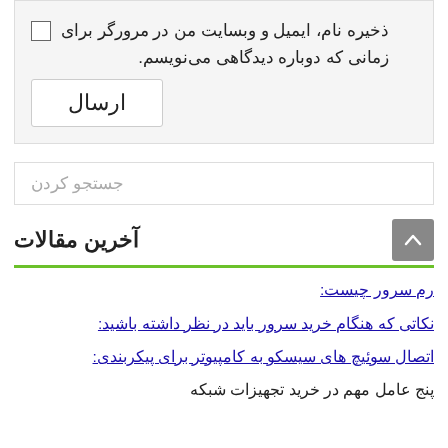ذخیره نام، ایمیل و وبسایت من در مرورگر برای زمانی که دوباره دیدگاهی می‌نویسم.
ارسال
جستجو کردن
آخرین مقالات
رم سرور چیست:
نکاتی که هنگام خرید سرور باید در نظر داشته باشید:
اتصال سوئیچ های سیسکو به کامپیوتر برای پیکربندی:
پنج عامل مهم در خرید تجهیزات شبکه